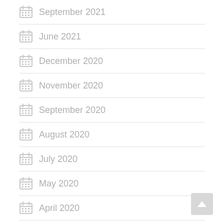September 2021
June 2021
December 2020
November 2020
September 2020
August 2020
July 2020
May 2020
April 2020
March 2020
August 2019
June 2019